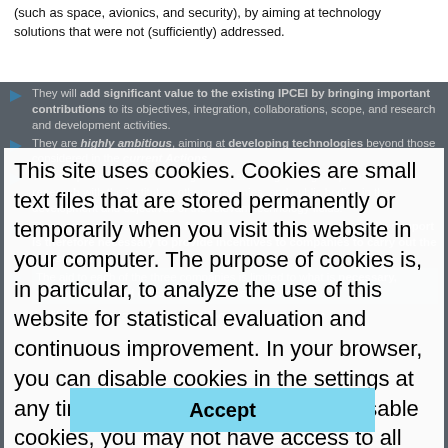(such as space, avionics, and security), by aiming at technology solutions that were not (sufficiently) addressed.
They will add significant value to the existing IPCEI by bringing important contributions to its objectives, integration, collaborations, scope, and research and development activities.
They are highly ambitious, aiming at developing technologies beyond those considered in the current Actions.
The companies will establish significant and long-lasting cooperation for research with the institutes, other companies, and public bodies in the development and objectives of the relevant technology fields.
They may not have access to financing and financial risks, and public support is therefore necessary to provide incentives to companies to carry out the investment.
The aid to each of the three companies is limited to what is necessary, proportionate and does not unduly distort competition.
Additional important positive spill-over effects will be
This site uses cookies. Cookies are small text files that are stored permanently or temporarily when you visit this website in your computer. The purpose of cookies is, in particular, to analyze the use of this website for statistical evaluation and continuous improvement. In your browser, you can disable cookies in the settings at any time in whole or in part. If you disable cookies, you may not have access to all features of this website. More Information
Accept